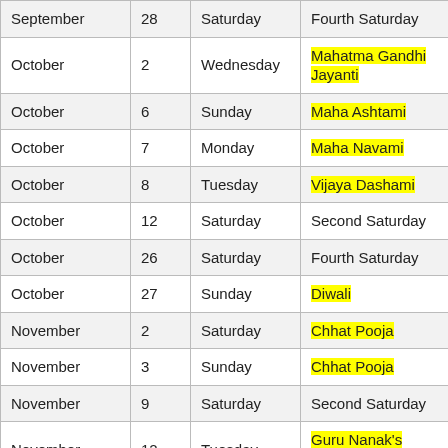| Month | Date | Day | Holiday/Event |
| --- | --- | --- | --- |
| September | 28 | Saturday | Fourth Saturday |
| October | 2 | Wednesday | Mahatma Gandhi Jayanti |
| October | 6 | Sunday | Maha Ashtami |
| October | 7 | Monday | Maha Navami |
| October | 8 | Tuesday | Vijaya Dashami |
| October | 12 | Saturday | Second Saturday |
| October | 26 | Saturday | Fourth Saturday |
| October | 27 | Sunday | Diwali |
| November | 2 | Saturday | Chhat Pooja |
| November | 3 | Sunday | Chhat Pooja |
| November | 9 | Saturday | Second Saturday |
| November | 12 | Tuesday | Guru Nanak's Birthday |
| November | 23 | Saturday | Fourth Saturday |
| December | 14 | Saturday | Second Saturday |
| December | 25 | Wednesday | Christmas |